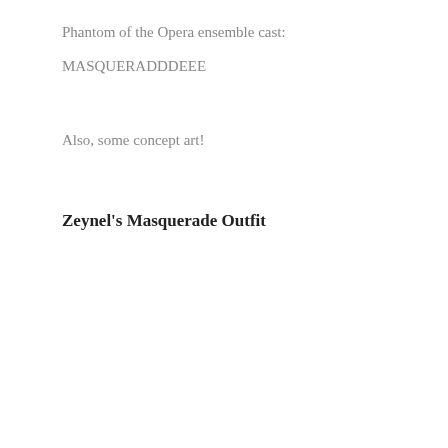Phantom of the Opera ensemble cast:
MASQUERADDDEEE
Also, some concept art!
Zeynel's Masquerade Outfit